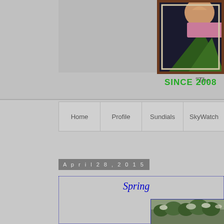[Figure (photo): Partial view of a framed painting showing dark background with green triangle and figure, with ornate brown frame]
"The
SINCE 2008
[Figure (other): Navigation bar with menu items: Home, Profile, Sundials, SkyWatch]
April 28, 2015
Spring